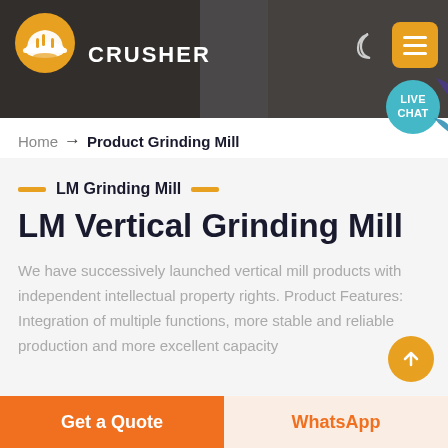[Figure (screenshot): Website header banner with dark background showing mining/crusher machinery, company logo (hard hat icon) on left, CRUSHER text, moon icon and yellow menu hamburger icon on right]
[Figure (infographic): Teal circular LIVE CHAT bubble with speech tail decoration on upper right]
Home → Product Grinding Mill
LM Grinding Mill
LM Vertical Grinding Mill
We have successively launched vertical mill products with independent intellectual property rights. Product Features: Integration of multiple functions, more stable and reliable production and more excellent capacity
Get a Quote
WhatsApp